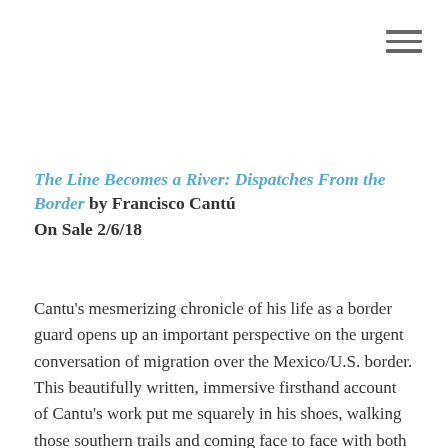[Figure (other): Hamburger menu icon — three horizontal lines stacked]
The Line Becomes a River: Dispatches From the Border by Francisco Cantú
On Sale 2/6/18
Cantu's mesmerizing chronicle of his life as a border guard opens up an important perspective on the urgent conversation of migration over the Mexico/U.S. border. This beautifully written, immersive firsthand account of Cantu's work put me squarely in his shoes, walking those southern trails and coming face to face with both the people making the life-threatening journey north and the people tasked